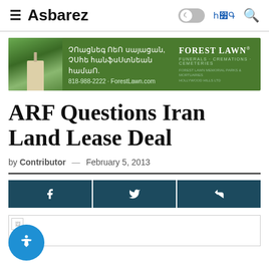≡ Asbarez  ☽  ՀԱՅ  🔍
[Figure (photo): Forest Lawn advertisement banner with Armenian text: Մրագրե Ձեր Սալաջան, Մտքի հանգստության համար: 818-988-2222 · ForestLawn.com — Forest Lawn Funerals + Cremations + Cemeteries]
ARF Questions Iran Land Lease Deal
by Contributor — February 5, 2013
[Figure (screenshot): Social share buttons bar: Facebook, Twitter, Share icons on dark teal background]